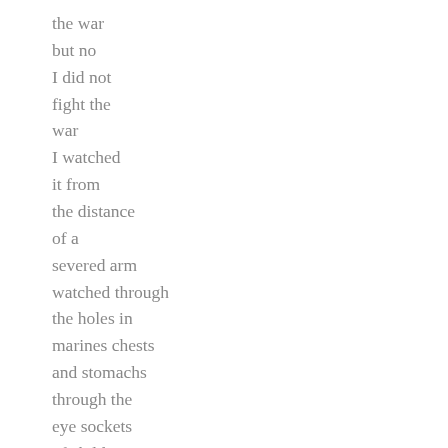the war
but no
I did not
fight the
war
I watched
it from
the distance
of a
severed arm
watched through
the holes in
marines chests
and stomachs
through the
eye sockets
of children
shredded by